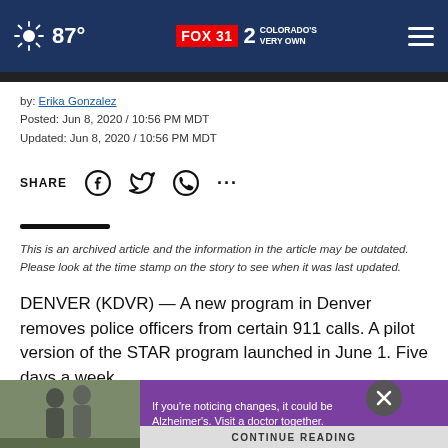FOX 31 | 2 Colorado's Very Own — 87°
by: Erika Gonzalez
Posted: Jun 8, 2020 / 10:56 PM MDT
Updated: Jun 8, 2020 / 10:56 PM MDT
SHARE
This is an archived article and the information in the article may be outdated. Please look at the time stamp on the story to see when it was last updated.
DENVER (KDVR) — A new program in Denver removes police officers from certain 911 calls. A pilot version of the STAR program launched in June 1. Five days a week,
[Figure (photo): Two men walking outdoors, advertisement overlay with purple background reading 'If you're noticing changes, it could be Alzheimer's. Visit a doctor together.' and a close button with X]
CONTINUE READING